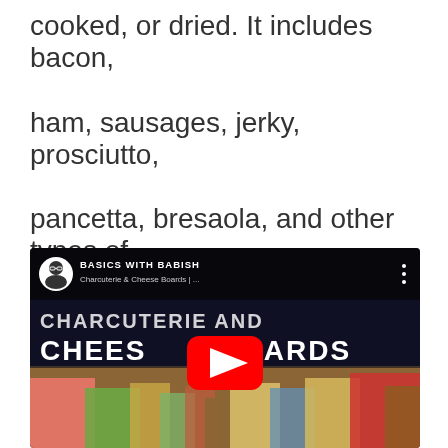cooked, or dried. It includes bacon, ham, sausages, jerky, prosciutto, pancetta, bresaola, and other types of preserved meats.
[Figure (screenshot): YouTube video thumbnail for 'Basics with Babish: Charcuterie & Cheese Boards' showing the video title 'CHARCUTERIE AND CHEESE BOARDS' overlaid on an image of a charcuterie board with meats, cheeses, olives, grapes, and other foods. A YouTube play button is visible in the center.]